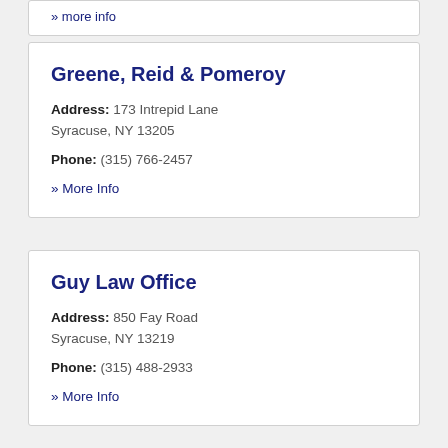» more info
Greene, Reid & Pomeroy
Address: 173 Intrepid Lane Syracuse, NY 13205
Phone: (315) 766-2457
» More Info
Guy Law Office
Address: 850 Fay Road Syracuse, NY 13219
Phone: (315) 488-2933
» More Info